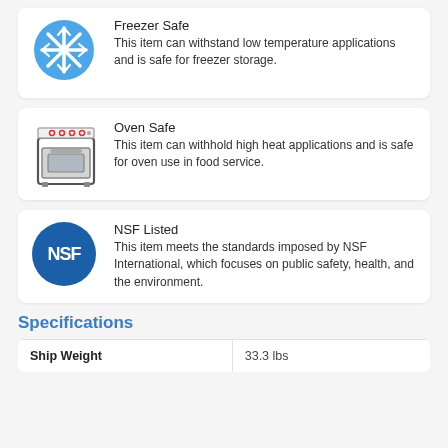[Figure (illustration): Freezer safe icon: blue circle with snowflake]
Freezer Safe
This item can withstand low temperature applications and is safe for freezer storage.
[Figure (illustration): Oven safe icon: drawing of a stove/oven appliance]
Oven Safe
This item can withhold high heat applications and is safe for oven use in food service.
[Figure (logo): NSF Listed badge: blue circle with NSF text]
NSF Listed
This item meets the standards imposed by NSF International, which focuses on public safety, health, and the environment.
Specifications
| Ship Weight | 33.3 lbs |
| --- | --- |